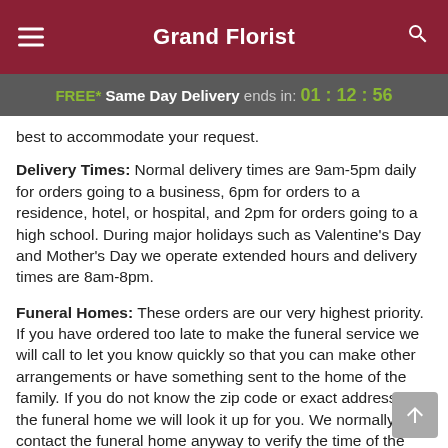Grand Florist
FREE* Same Day Delivery ends in: 01:12:56
best to accommodate your request.
Delivery Times: Normal delivery times are 9am-5pm daily for orders going to a business, 6pm for orders to a residence, hotel, or hospital, and 2pm for orders going to a high school. During major holidays such as Valentine's Day and Mother's Day we operate extended hours and delivery times are 8am-8pm.
Funeral Homes: These orders are our very highest priority. If you have ordered too late to make the funeral service we will call to let you know quickly so that you can make other arrangements or have something sent to the home of the family. If you do not know the zip code or exact address of the funeral home we will look it up for you. We normally contact the funeral home anyway to verify the time of the viewing and make arrangements for the flower delivery. If you have selected a delivery date that is before the actual viewing we will deliver to the viewing per the funeral home